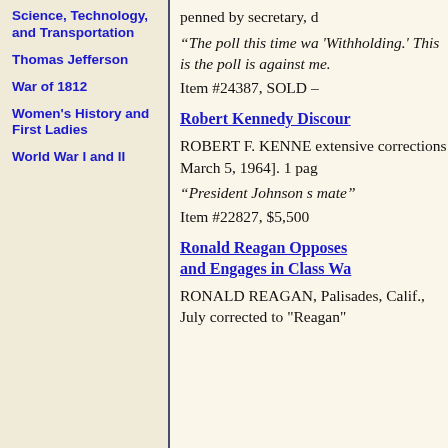Science, Technology, and Transportation
Thomas Jefferson
War of 1812
Women's History and First Ladies
World War I and II
penned by secretary, d
“The poll this time wa 'Withholding.' This is the poll is against me.
Item #24387, SOLD –
Robert Kennedy Discour
ROBERT F. KENNE extensive corrections March 5, 1964]. 1 pag
“President Johnson s mate”
Item #22827, $5,500
Ronald Reagan Opposes and Engages in Class Wa
RONALD REAGAN, Palisades, Calif., July corrected to "Reagan"